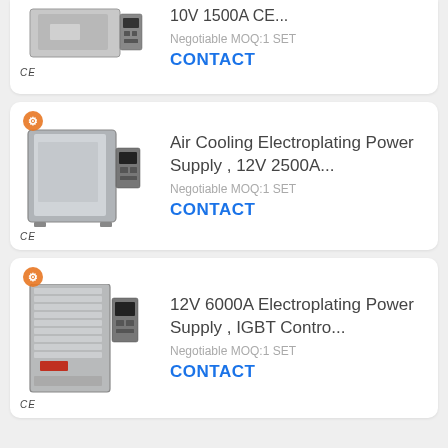[Figure (photo): Partial product card (cut off at top): electroplating power supply unit, 10V 1500A CE, with CE mark below image]
10V 1500A CE...
Negotiable MOQ:1 SET
CONTACT
[Figure (photo): Air Cooling Electroplating Power Supply unit, large box-shaped with control panel, CE mark below]
Air Cooling Electroplating Power Supply , 12V 2500A...
Negotiable MOQ:1 SET
CONTACT
[Figure (photo): 12V 6000A Electroplating Power Supply, tall cabinet with rack-mounted units and control panel, CE mark below]
12V 6000A Electroplating Power Supply , IGBT Contro...
Negotiable MOQ:1 SET
CONTACT